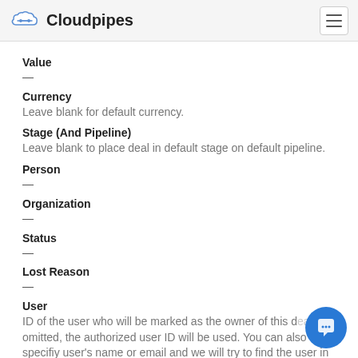Cloudpipes
Value
—
Currency
Leave blank for default currency.
Stage (And Pipeline)
Leave blank to place deal in default stage on default pipeline.
Person
—
Organization
—
Status
—
Lost Reason
—
User
ID of the user who will be marked as the owner of this deal. If omitted, the authorized user ID will be used. You can also specify user's name or email and we will try to find the user in